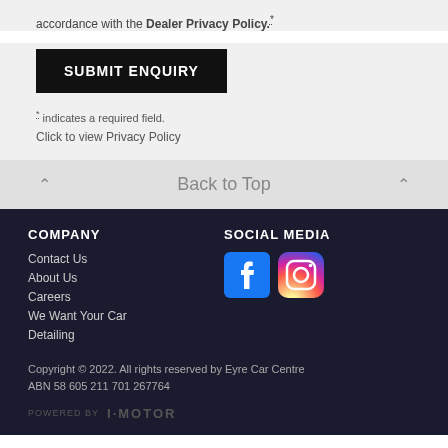accordance with the Dealer Privacy Policy.*
SUBMIT ENQUIRY
* indicates a required field.
Click to view Privacy Policy
Back to Top
COMPANY
SOCIAL MEDIA
Contact Us
About Us
Careers
We Want Your Car
Detailing
[Figure (logo): Facebook and Instagram social media icons]
Copyright © 2022. All rights reserved by Eyre Car Centre
ABN 58 605 211 701 267764
POWERED BY   I·MOTOR